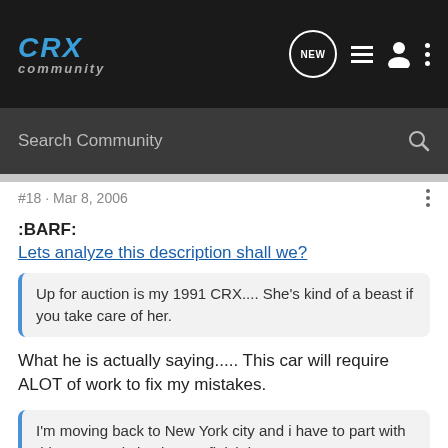CRX Community
Search Community
#18 · Mar 8, 2006
:BARF:
Lets analyze this description shall we?
Up for auction is my 1991 CRX.... She's kind of a beast if you take care of her.
What he is actually saying..... This car will require ALOT of work to fix my mistakes.
I'm moving back to New York city and i have to part with this car... and simply cant finish it.
What he is actually saying... I'm skipping town as fast as I can